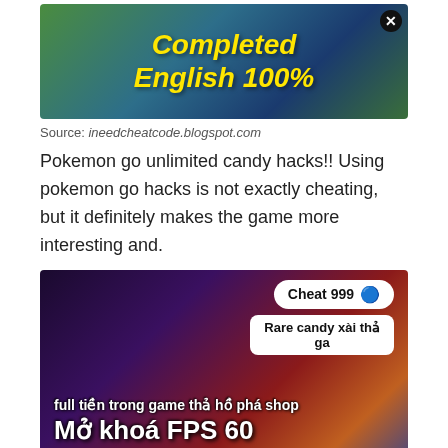[Figure (screenshot): Pokemon anime promotional image with 'Completed English 100%' text in yellow bold italic, featuring Ash, Mewtwo, and Pikachu characters on a colorful background with a close/X button in top center.]
Source: ineedcheatcode.blogspot.com
Pokemon go unlimited candy hacks!! Using pokemon go hacks is not exactly cheating, but it definitely makes the game more interesting and.
[Figure (screenshot): Pokemon game cheat screenshot showing 'Cheat 999' button with Pokeball icon, 'Rare candy xài thả ga' button, and text 'full tiền trong game thả hồ phá shop', 'Mở khoá FPS 60 Bao mượt' over a colorful Pokemon battle background.]
Source: xn--tiuimtng-l1a50bm2d254p9ia.vn
Wait for the generator to finish the